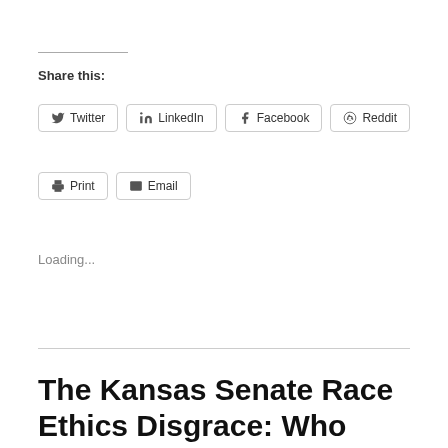Share this:
Twitter  LinkedIn  Facebook  Reddit  Print  Email
Loading...
The Kansas Senate Race Ethics Disgrace: Who Can You Trust?